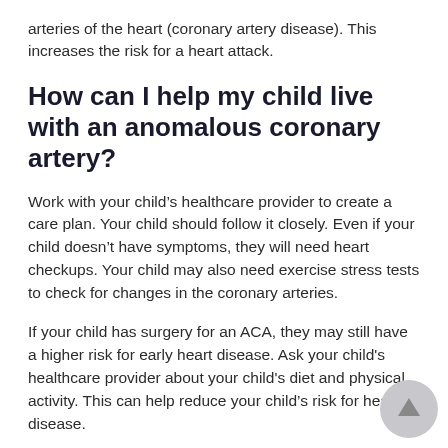arteries of the heart (coronary artery disease). This increases the risk for a heart attack.
How can I help my child live with an anomalous coronary artery?
Work with your child’s healthcare provider to create a care plan. Your child should follow it closely. Even if your child doesn’t have symptoms, they will need heart checkups. Your child may also need exercise stress tests to check for changes in the coronary arteries.
If your child has surgery for an ACA, they may still have a higher risk for early heart disease. Ask your child's healthcare provider about your child's diet and physical activity. This can help reduce your child’s risk for heart disease.
Ask your child's healthcare provider about your child’s outlook.